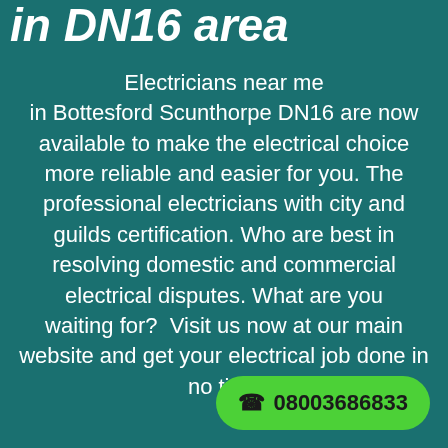in DN16 area
Electricians near me in Bottesford Scunthorpe DN16 are now available to make the electrical choice more reliable and easier for you. The professional electricians with city and guilds certification. Who are best in resolving domestic and commercial electrical disputes. What are you waiting for?  Visit us now at our main website and get your electrical job done in no time
08003686833